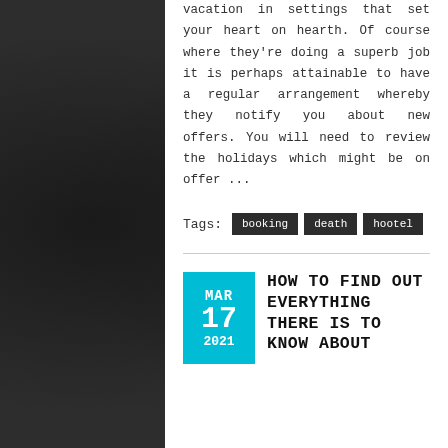vacation in settings that set your heart on hearth. Of course where they're doing a superb job it is perhaps attainable to have a regular arrangement whereby they notify you about new offers. You will need to review the holidays which might be on offer ...
Tags: booking death hootel
HOW TO FIND OUT EVERYTHING THERE IS TO KNOW ABOUT